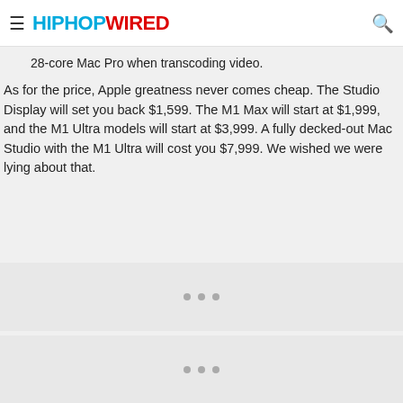HIPHOPWIRED
28-core Mac Pro when transcoding video.
As for the price, Apple greatness never comes cheap. The Studio Display will set you back $1,599. The M1 Max will start at $1,999, and the M1 Ultra models will start at $3,999. A fully decked-out Mac Studio with the M1 Ultra will cost you $7,999. We wished we were lying about that.